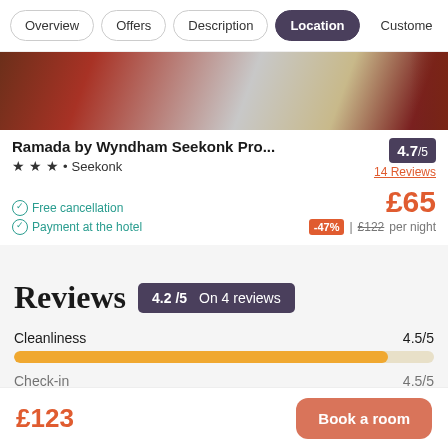Overview | Offers | Description | Location | Customer
[Figure (photo): Hotel room photo showing bed with red accent and wooden furniture]
Ramada by Wyndham Seekonk Pro... 4.7/5 — 14 Reviews — ★★★ • Seekonk
Free cancellation
Payment at the hotel
£65  -47% | £122 per night
Reviews  4.2/5 On 4 reviews
Cleanliness  4.5/5
Check-in  4.5/5
£123
Book a room